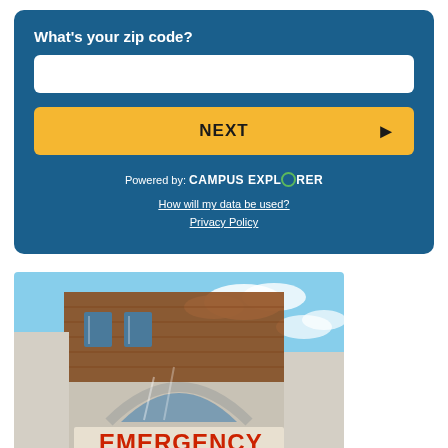What's your zip code?
NEXT
Powered by: CAMPUS EXPLORER
How will my data be used?
Privacy Policy
[Figure (photo): Hospital emergency entrance with brick building exterior and large red EMERGENCY sign above the entrance arch]